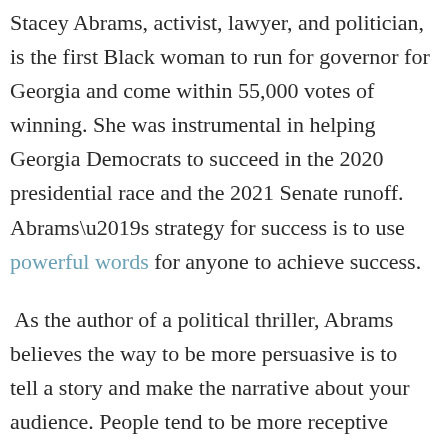Stacey Abrams, activist, lawyer, and politician, is the first Black woman to run for governor for Georgia and come within 55,000 votes of winning. She was instrumental in helping Georgia Democrats to succeed in the 2020 presidential race and the 2021 Senate runoff. Abrams’s strategy for success is to use powerful words for anyone to achieve success.
As the author of a political thriller, Abrams believes the way to be more persuasive is to tell a story and make the narrative about your audience. People tend to be more receptive when they can see themselves in that situation. If the person you’re